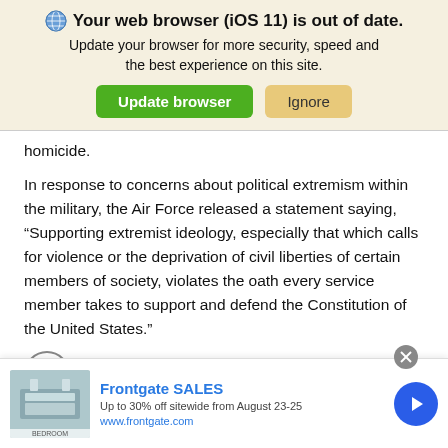[Figure (screenshot): Browser update notification banner with globe icon, bold title 'Your web browser (iOS 11) is out of date.', subtitle text, and two buttons: 'Update browser' (green) and 'Ignore' (tan/yellow)]
homicide.
In response to concerns about political extremism within the military, the Air Force released a statement saying, “Supporting extremist ideology, especially that which calls for violence or the deprivation of civil liberties of certain members of society, violates the oath every service member takes to support and defend the Constitution of the United States.”
’s fate is now in the hands of the courts. Together
[Figure (screenshot): Advertisement for Frontgate SALES: bedroom image on left, ad text 'Frontgate SALES, Up to 30% off sitewide from August 23-25, www.frontgate.com', blue arrow button on right, close X button at top right]